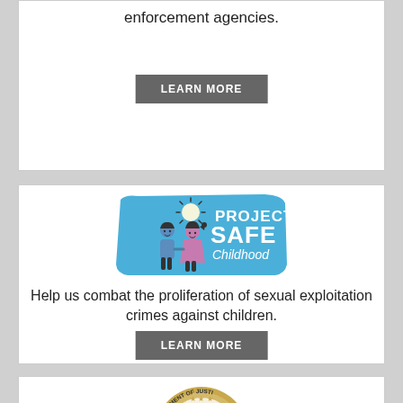enforcement agencies.
LEARN MORE
[Figure (logo): Project Safe Childhood logo — blue background with cartoon children (boy and girl) holding hands under a sun, with text 'PROJECT SAFE Childhood' in white]
Help us combat the proliferation of sexual exploitation crimes against children.
LEARN MORE
[Figure (logo): U.S. Department of Justice seal — circular gold seal with eagle and text 'DEPARTMENT OF JUSTICE']